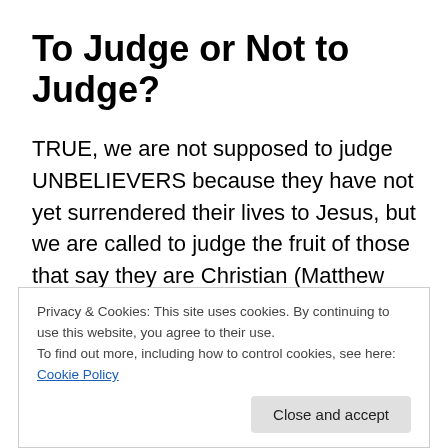To Judge or Not to Judge?
TRUE, we are not supposed to judge UNBELIEVERS because they have not yet surrendered their lives to Jesus, but we are called to judge the fruit of those that say they are Christian (Matthew 7:1-29), including OUR OWN FRUIT!
But, that doesn’t mean we’re to condemn them – that’s self-righteousness. Yet CONVICTION comes when the Holy Spirit draws us into truth, healing & cleansing us, and
Privacy & Cookies: This site uses cookies. By continuing to use this website, you agree to their use.
To find out more, including how to control cookies, see here: Cookie Policy